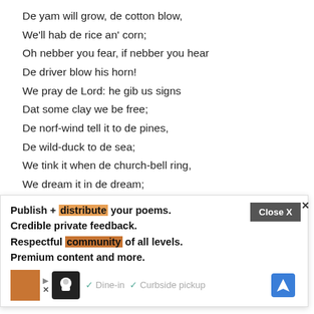De yam will grow, de cotton blow,
We'll hab de rice an' corn;
Oh nebber you fear, if nebber you hear
De driver blow his horn!
We pray de Lord: he gib us signs
Dat some clay we be free;
De norf-wind tell it to de pines,
De wild-duck to de sea;
We tink it when de church-bell ring,
We dream it in de dream;
De rice-bird mean it when he sing,
De eagle when he scream.
De yam will grow, de cotton blow,
[Figure (screenshot): Advertisement overlay with text: Publish + distribute your poems. Credible private feedback. Respectful community of all levels. Premium content and more. Close X button. Below: ad banner with orange box, food icon, Dine-in, Curbside pickup, navigation arrow icon.]